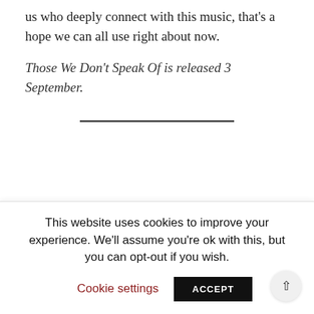us who deeply connect with this music, that's a hope we can all use right about now.
Those We Don't Speak Of is released 3 September.
This website uses cookies to improve your experience. We'll assume you're ok with this, but you can opt-out if you wish.